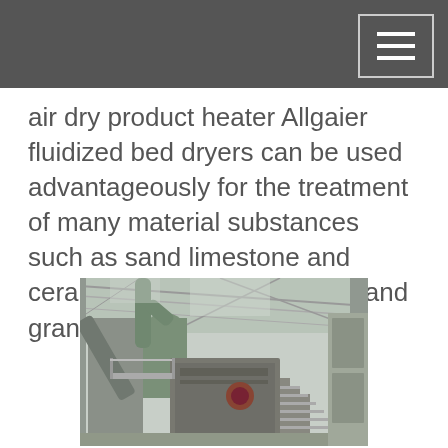air dry product heater Allgaier fluidized bed dryers can be used advantageously for the treatment of many material substances such as sand limestone and ceramics and also for pellets and granules mineral…
[Figure (photo): Industrial facility interior showing a large fluidized bed dryer or similar industrial processing equipment with conveyors, pipes, structural steel framework, and stairs inside a large warehouse/factory building.]